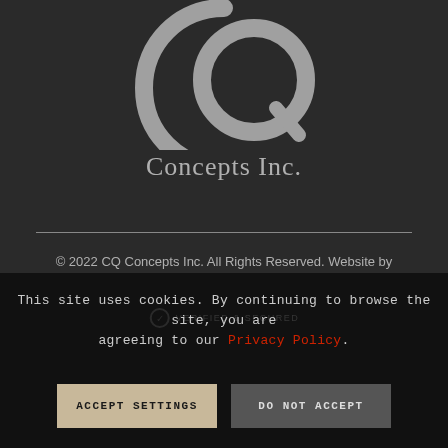[Figure (logo): CQ Concepts Inc. logo — a large stylized C with Q lettermark in gray, followed by the text 'Concepts Inc.' in gray serif font below]
© 2022 CQ Concepts Inc. All Rights Reserved. Website by MyDesignSpace, Inc.
This site uses cookies. By continuing to browse the site, you are agreeing to our Privacy Policy.
ACCEPT SETTINGS
DO NOT ACCEPT